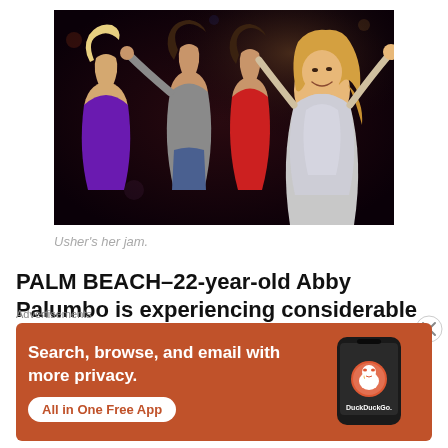[Figure (photo): Group of young people dancing in a dark nightclub. A blonde woman in a silver sparkly dress is in the foreground dancing joyfully, with other people including a man in a grey shirt and women in purple and red outfits visible behind her.]
Usher's her jam.
PALM BEACH–22-year-old Abby Palumbo is experiencing considerable difficulty dancing to Major Lazer's recent
Advertisements
[Figure (screenshot): DuckDuckGo advertisement banner on orange/terracotta background. Left side reads 'Search, browse, and email with more privacy.' with a white rounded-rectangle button saying 'All in One Free App'. Right side shows a dark smartphone with the DuckDuckGo duck logo (circular orange badge with white duck) and 'DuckDuckGo.' text below.]